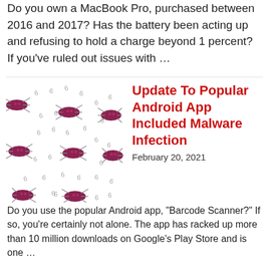Do you own a MacBook Pro, purchased between 2016 and 2017? Has the battery been acting up and refusing to hold a charge beyond 1 percent? If you've ruled out issues with …
[Figure (illustration): Multiple red bug/virus illustrations scattered on white background, representing malware]
Update To Popular Android App Included Malware Infection
February 20, 2021
Do you use the popular Android app, "Barcode Scanner?" If so, you're certainly not alone. The app has racked up more than 10 million downloads on Google's Play Store and is one …
[Figure (illustration): Orange/salmon colored background with a white box showing a bug icon and the word SPAM]
Data Breach Victims Get More Spam And Phishing Emails